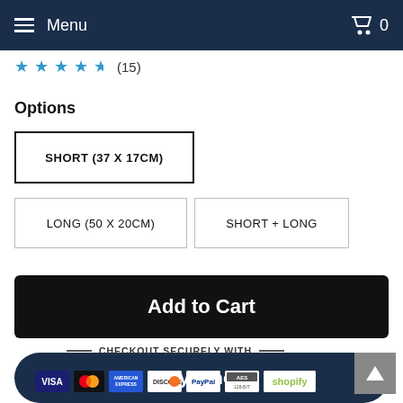Menu | Cart 0
★★★★½ (15)
Options
SHORT (37 X 17CM)
LONG (50 X 20CM)
SHORT + LONG
Add to Cart
Buy it now
CHECKOUT SECURELY WITH
[Figure (other): Payment icons: VISA, Mastercard, American Express, Discover, PayPal, AES, Shopify]